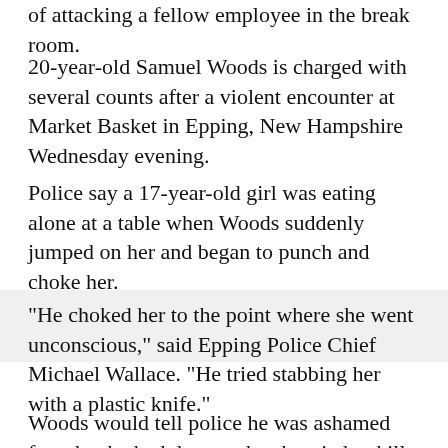of attacking a fellow employee in the break room.
20-year-old Samuel Woods is charged with several counts after a violent encounter at Market Basket in Epping, New Hampshire Wednesday evening.
Police say a 17-year-old girl was eating alone at a table when Woods suddenly jumped on her and began to punch and choke her.
"He choked her to the point where she went unconscious," said Epping Police Chief Michael Wallace. "He tried stabbing her with a plastic knife."
Woods would tell police he was ashamed for what he had done and so he tried to kill himself.